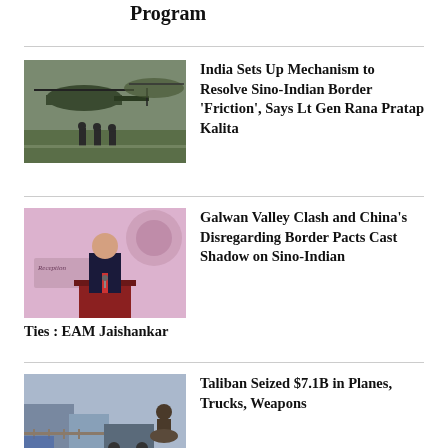Program
[Figure (photo): Military personnel standing near helicopters on a tarmac]
India Sets Up Mechanism to Resolve Sino-Indian Border ‘Friction’, Says Lt Gen Rana Pratap Kalita
[Figure (photo): A man in a suit speaking at a podium at a reception event]
Galwan Valley Clash and China’s Disregarding Border Pacts Cast Shadow on Sino-Indian Ties : EAM Jaishankar
[Figure (photo): Armed soldiers near vehicles and structures]
Taliban Seized $7.1B in Planes, Trucks, Weapons